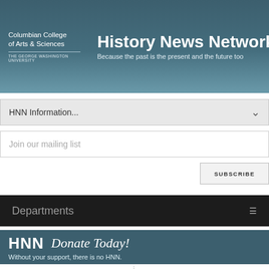Columbian College of Arts & Sciences THE GEORGE WASHINGTON UNIVERSITY | History News Network | Because the past is the present and the future too
HNN Information...
Join our mailing list
SUBSCRIBE
Departments
[Figure (logo): HNN Donate Today! Without your support, there is no HNN. Banner with HNN logo on dark teal background.]
6/5/2022
Regimes Around the World are